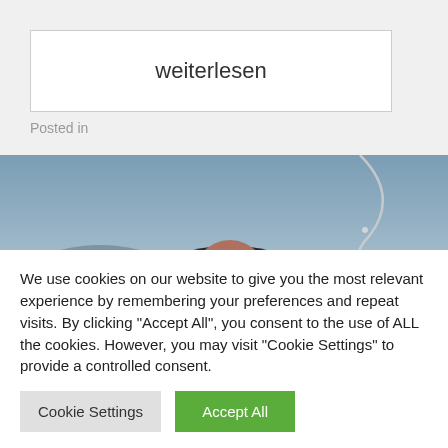weiterlesen
Posted in
[Figure (photo): Person wearing sunglasses and a dark cap against a cloudy sky background, with a curved wire or string visible in the upper right]
We use cookies on our website to give you the most relevant experience by remembering your preferences and repeat visits. By clicking "Accept All", you consent to the use of ALL the cookies. However, you may visit "Cookie Settings" to provide a controlled consent.
Cookie Settings
Accept All